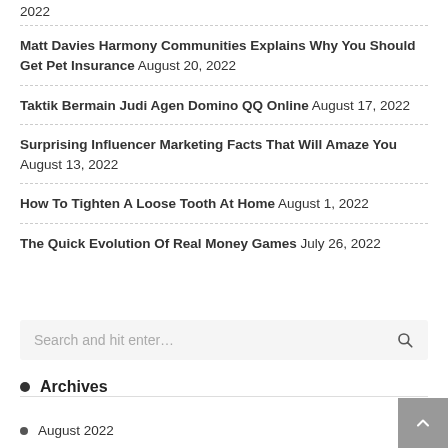2022
Matt Davies Harmony Communities Explains Why You Should Get Pet Insurance August 20, 2022
Taktik Bermain Judi Agen Domino QQ Online August 17, 2022
Surprising Influencer Marketing Facts That Will Amaze You August 13, 2022
How To Tighten A Loose Tooth At Home August 1, 2022
The Quick Evolution Of Real Money Games July 26, 2022
Search and hit enter…
Archives
August 2022